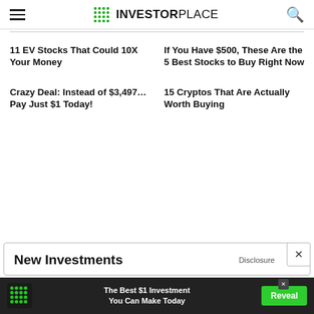INVESTORPLACE
11 EV Stocks That Could 10X Your Money
If You Have $500, These Are the 5 Best Stocks to Buy Right Now
Crazy Deal: Instead of $3,497… Pay Just $1 Today!
15 Cryptos That Are Actually Worth Buying
New Investments
Disclosure
[Figure (infographic): Bottom advertisement bar: green dot logo, text 'The Best $1 Investment You Can Make Today', green Reveal button]